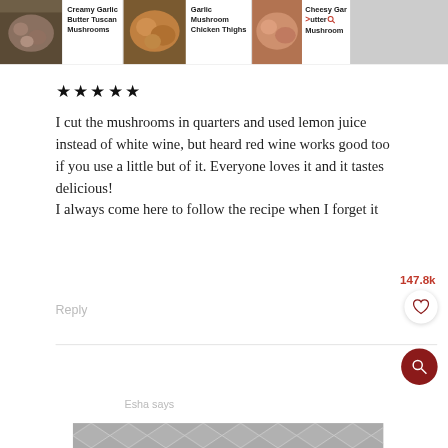[Figure (screenshot): Horizontal scrollable row of recipe cards: 'Creamy Garlic Butter Tuscan Mushrooms', 'Garlic Mushroom Chicken Thighs', 'Cheesy Gar...utter...Mushroom...' with food images]
★★★★★
I cut the mushrooms in quarters and used lemon juice instead of white wine, but heard red wine works good too if you use a little but of it. Everyone loves it and it tastes delicious! I always come here to follow the recipe when I forget it
147.8k
Reply
Esha says